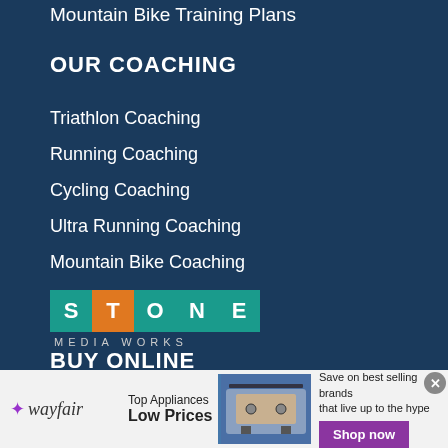Mountain Bike Training Plans
OUR COACHING
Triathlon Coaching
Running Coaching
Cycling Coaching
Ultra Running Coaching
Mountain Bike Coaching
[Figure (logo): Stone Media Works logo with colored letter tiles (S, T, O, N, E) in teal and orange, with 'MEDIA WORKS' subtitle]
BUY ONLINE
[Figure (infographic): Wayfair advertisement banner: Top Appliances Low Prices, Save on best selling brands that live up to the hype, Shop now button]